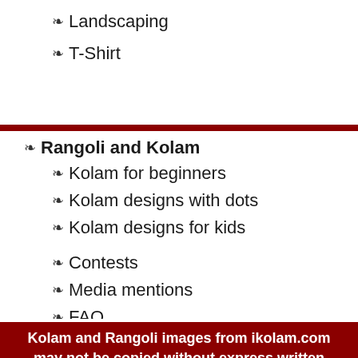Landscaping
T-Shirt
Rangoli and Kolam
Kolam for beginners
Kolam designs with dots
Kolam designs for kids
Contests
Media mentions
FAQ
About us
Kolam and Rangoli images from ikolam.com may not be copied without express written permission.
[Figure (other): Copyscape page protection badge: PAGE PROTECTED BY COPYSCAPE DO NOT COPY]
© 2022 iKolam.com All rights reserved | About iKolam.com | Privacy Policy | Terms of Use | Contact